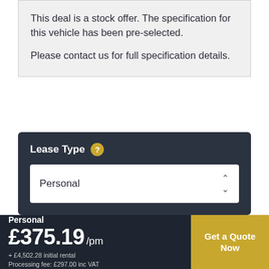This deal is a stock offer. The specification for this vehicle has been pre-selected.

Please contact us for full specification details.
Lease Type
Personal
Personal £375.19 /pm
+ £4,502.28 initial rental
Processing fee: £297.00 inc VAT
Get a Quote Now